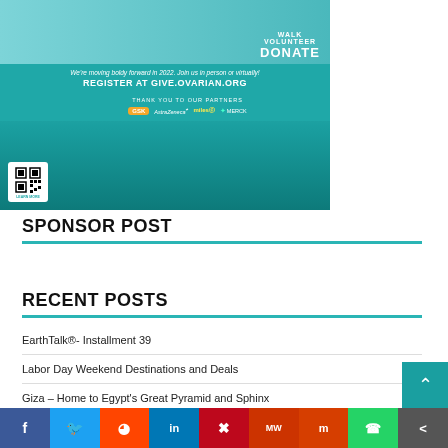[Figure (infographic): Ovarian Cancer Walk/Volunteer/Donate banner with teal background, QR code, sponsor logos (GSK, AstraZeneca, Merck), text: We're moving boldy forward in 2022. Join us in person or virtually! REGISTER AT GIVE.OVARIAN.ORG THANK YOU TO OUR PARTNERS]
SPONSOR POST
RECENT POSTS
EarthTalk®- Installment 39
Labor Day Weekend Destinations and Deals
Giza – Home to Egypt's Great Pyramid and Sphinx
Dance Review: Hubbard Street brings scintillating work to Jacob's Pillow